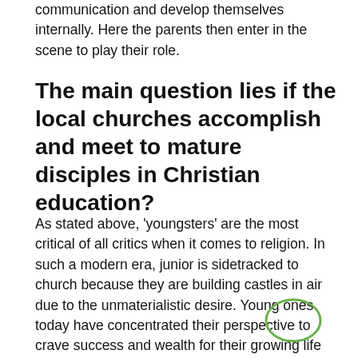communication and develop themselves internally. Here the parents then enter in the scene to play their role.
The main question lies if the local churches accomplish and meet to mature disciples in Christian education?
As stated above, 'youngsters' are the most critical of all critics when it comes to religion. In such a modern era, junior is sidetracked to church because they are building castles in air due to the unmaterialistic desire. Young ones today have concentrated their perspective to crave success and wealth for their growing life graph; they exploit their own ones due to greed and selfishness. Through the primary stage of have difficulties and effort, youth craves to attain prosperity, at exactly the same time, do thank god and allow his participation for success, but hand in hand, lack to check out the bibles ethics which constant clean their sins and with a rite. Don t